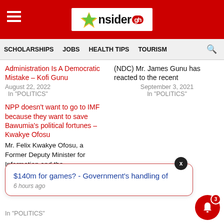InsiderGh — SCHOLARSHIPS | JOBS | HEALTH TIPS | TOURISM
Administration Is A Democratic Mistake – Kofi Gunu
August 22, 2022
In "POLITICS"
(NDC) Mr. James Gunu has reacted to the recent
September 3, 2021
In "POLITICS"
NPP doesn't want to go to IMF because they want to save Bawumia's political fortunes – Kwakye Ofosu
Mr. Felix Kwakye Ofosu, a Former Deputy Minister for Information and the
$140m for games? - Government's handling of
6 hours ago
In "POLITICS"